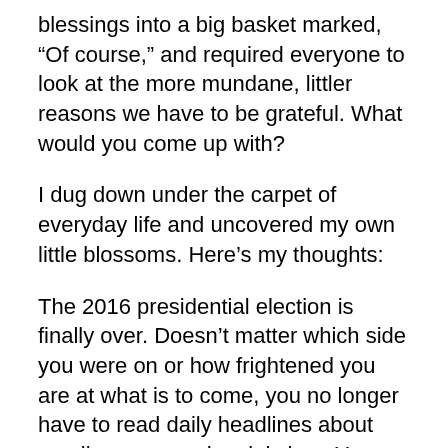blessings into a big basket marked, “Of course,” and required everyone to look at the more mundane, littler reasons we have to be grateful. What would you come up with?
I dug down under the carpet of everyday life and uncovered my own little blossoms. Here’s my thoughts:
The 2016 presidential election is finally over. Doesn’t matter which side you were on or how frightened you are at what is to come, you no longer have to read daily headlines about email servers and racial slurs. You can sit back and peruse everyone’s thoughts on what a crappy system the electoral college is and what radical change is to come.
Gloria Jean’s butter toffee coffee. No need for further explanation. I love the stuff.